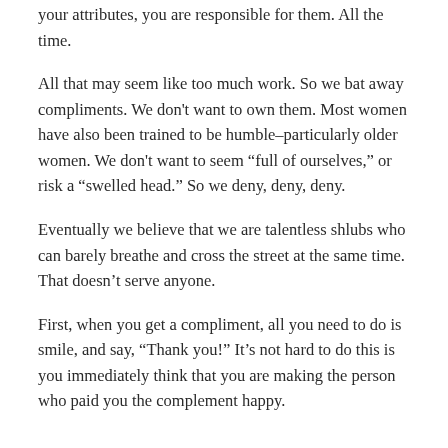your attributes, you are responsible for them. All the time.
All that may seem like too much work. So we bat away compliments. We don't want to own them. Most women have also been trained to be humble–particularly older women. We don't want to seem “full of ourselves,” or risk a “swelled head.” So we deny, deny, deny.
Eventually we believe that we are talentless shlubs who can barely breathe and cross the street at the same time. That doesn’t serve anyone.
First, when you get a compliment, all you need to do is smile, and say, “Thank you!” It’s not hard to do this is you immediately think that you are making the person who paid you the complement happy.